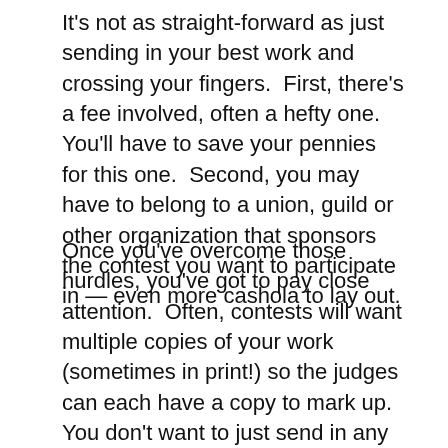It's not as straight-forward as just sending in your best work and crossing your fingers.  First, there's a fee involved, often a hefty one.  You'll have to save your pennies for this one.  Second, you may have to belong to a union, guild or other organization that sponsors the contest you want to participate in — even more cashola to lay out.
Once you've overcome those hurdles, you've got to pay close attention.  Often, contests will want multiple copies of your work (sometimes in print!) so the judges can each have a copy to mark up.  You don't want to just send in any old thing, look at the past winners and see if you can determine a pattern — is there some topic area or type of work that your chosen contest tends to award more often than others? You also have to make sure you're entering